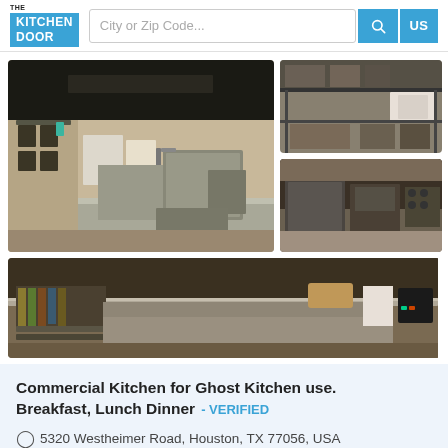THE KITCHEN DOOR — City or Zip Code... [search] US
[Figure (photo): Commercial kitchen main photo showing hanging wire baskets, stainless steel shelves, commercial dishwasher unit and sink area]
[Figure (photo): Commercial kitchen side photo top: stainless steel shelving with kitchen equipment]
[Figure (photo): Commercial kitchen side photo bottom: commercial fryer and range equipment]
[Figure (photo): Commercial kitchen bottom-wide photo showing stainless steel prep counter with shelving below]
Commercial Kitchen for Ghost Kitchen use. Breakfast, Lunch Dinner - VERIFIED
5320 Westheimer Road, Houston, TX 77056, USA